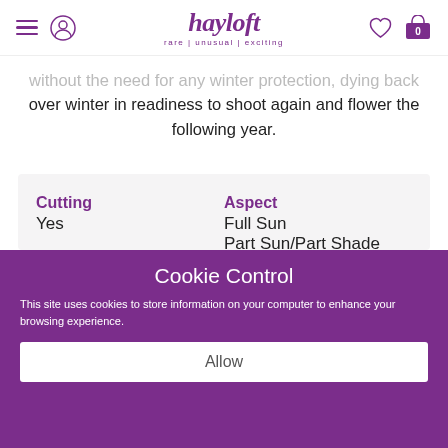hayloft — rare | unusual | exciting
...without the need for any winter protection, dying back over winter in readiness to shoot again and flower the following year.
| Cutting | Aspect |
| Yes | Full Sun |
|  | Part Sun/Part Shade |
| Flowering Time |  |
| Summer | Flowering Colour |
|  | Pink |
Cookie Control
This site uses cookies to store information on your computer to enhance your browsing experience.
Allow